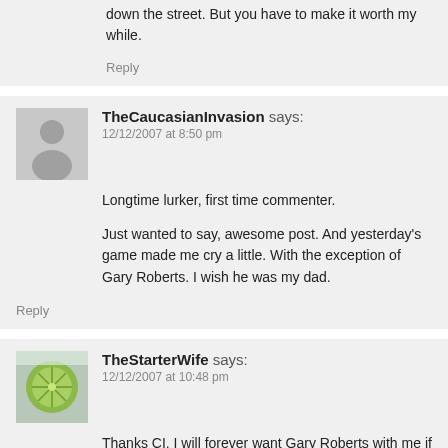down the street. But you have to make it worth my while.
Reply
TheCaucasianInvasion says:
12/12/2007 at 8:50 pm
Longtime lurker, first time commenter.

Just wanted to say, awesome post. And yesterday's game made me cry a little. With the exception of Gary Roberts. I wish he was my dad.
Reply
TheStarterWife says:
12/12/2007 at 10:48 pm
Thanks CI. I will forever want Gary Roberts with me if I have to walk down a dark alley.
Reply